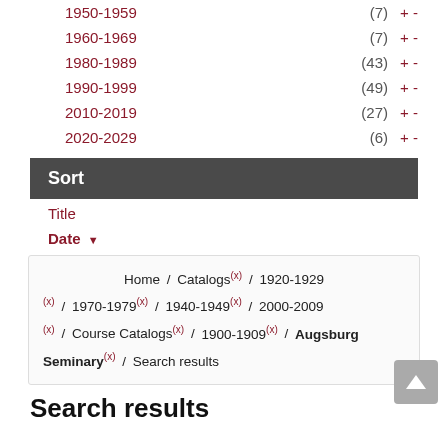1950-1959  (7)  + -
1960-1969  (7)  + -
1980-1989  (43)  + -
1990-1999  (49)  + -
2010-2019  (27)  + -
2020-2029  (6)  + -
Sort
Title
Date ▼
Home / Catalogs (x) / 1920-1929 (x) / 1970-1979 (x) / 1940-1949 (x) / 2000-2009 (x) / Course Catalogs (x) / 1900-1909 (x) / Augsburg Seminary (x) / Search results
Search results